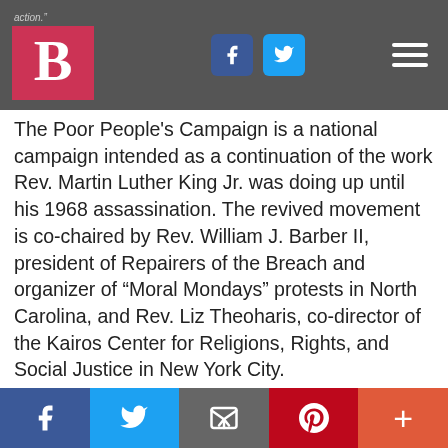action."
The Poor People's Campaign is a national campaign intended as a continuation of the work Rev. Martin Luther King Jr. was doing up until his 1968 assassination. The revived movement is co-chaired by Rev. William J. Barber II, president of Repairers of the Breach and organizer of “Moral Mondays” protests in North Carolina, and Rev. Liz Theoharis, co-director of the Kairos Center for Religions, Rights, and Social Justice in New York City.
Speaking to the Banner after the Boston
f  [twitter]  [email]  p  +